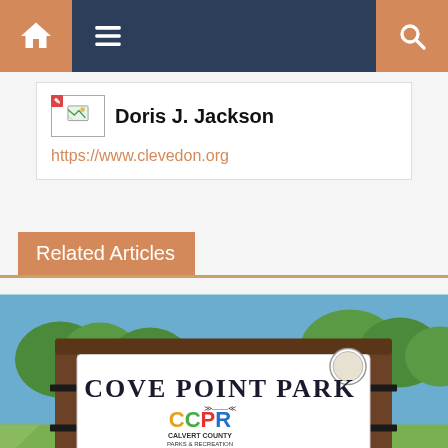Navigation bar with home, menu, and search icons
Doris J. Jackson
https://www.clevedon.org
Related Articles
[Figure (photo): Photograph of the Cove Point Park entrance sign mounted on a wooden post frame. The white sign reads 'COVE POINT PARK' in large dark letters, with a CCPR (Calvert County Parks & Recreation) logo in colorful letters, and text reading 'CALVERT COUNTY BOARD OF COUNTY COMMISSIONERS / DEPARTMENT OF PARKS AND RECREATION / THIS FACILITY IS SUPPORTED FROM A GRANT / FROM PROGRAM OPEN SPACE'. Trees and blue sky are visible in the background.]